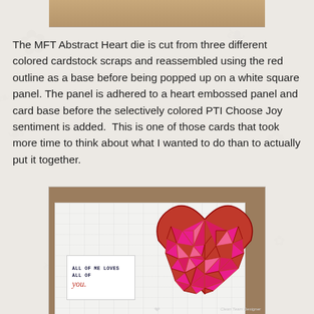[Figure (photo): Top portion of a card craft photo, cropped — shows a tan/brown surface]
The MFT Abstract Heart die is cut from three different colored cardstock scraps and reassembled using the red outline as a base before being popped up on a white square panel. The panel is adhered to a heart embossed panel and card base before the selectively colored PTI Choose Joy sentiment is added.  This is one of those cards that took more time to think about what I wanted to do than to actually put it together.
[Figure (photo): A handmade Valentine's Day card featuring a geometric faceted red and pink abstract heart die cut, popped up on a white embossed panel over a kraft background. A small white tag reads 'ALL OF ME LOVES ALL OF you.' with the word 'you' in red cursive.]